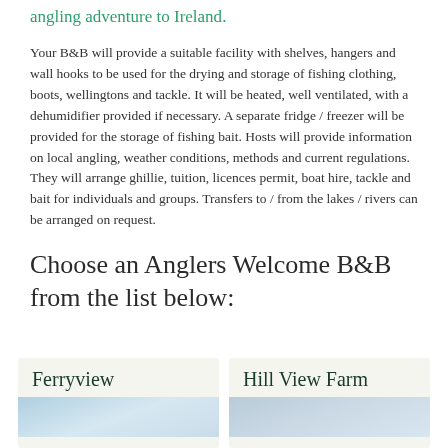angling adventure to Ireland.
Your B&B will provide a suitable facility with shelves, hangers and wall hooks to be used for the drying and storage of fishing clothing, boots, wellingtons and tackle. It will be heated, well ventilated, with a dehumidifier provided if necessary. A separate fridge / freezer will be provided for the storage of fishing bait. Hosts will provide information on local angling, weather conditions, methods and current regulations.  They will arrange ghillie, tuition, licences permit, boat hire, tackle and bait for individuals and groups. Transfers to / from the lakes / rivers can be arranged on request.
Choose an Anglers Welcome B&B from the list below:
Ferryview
Hill View Farm